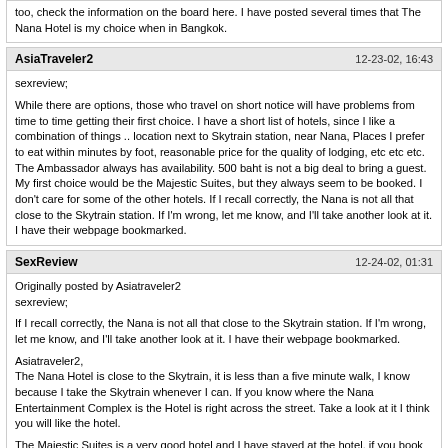too, check the information on the board here. I have posted several times that The Nana Hotel is my choice when in Bangkok.
AsiaTraveler2
12-23-02, 16:43
sexreview;

While there are options, those who travel on short notice will have problems from time to time getting their first choice. I have a short list of hotels, since I like a combination of things .. location next to Skytrain station, near Nana, Places I prefer to eat within minutes by foot, reasonable price for the quality of lodging, etc etc etc. The Ambassador always has availability. 500 baht is not a big deal to bring a guest. My first choice would be the Majestic Suites, but they always seem to be booked. I don't care for some of the other hotels. If I recall correctly, the Nana is not all that close to the Skytrain station. If I'm wrong, let me know, and I'll take another look at it. I have their webpage bookmarked.
SexReview
12-24-02, 01:31
Originally posted by Asiatraveler2
sexreview;

If I recall correctly, the Nana is not all that close to the Skytrain station. If I'm wrong, let me know, and I'll take another look at it. I have their webpage bookmarked.

Asiatraveler2,
The Nana Hotel is close to the Skytrain, it is less than a five minute walk, I know because I take the Skytrain whenever I can. If you know where the Nana Entertainment Complex is the Hotel is right across the street. Take a look at it I think you will like the hotel.

The Majestic Suites is a very good hotel and I have stayed at the hotel, if you book over the internet you should be able to get a room. It is smaller than the Nana Hotel and not a lot of girls around it or in the lobby so if I have a choice for those reasons I pick the Nana Hotel.